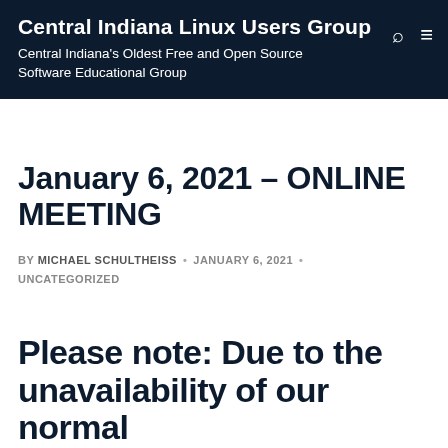Central Indiana Linux Users Group
Central Indiana's Oldest Free and Open Source Software Educational Group
January 6, 2021 – ONLINE MEETING
BY MICHAEL SCHULTHEISS · JANUARY 6, 2021 · UNCATEGORIZED
Please note: Due to the unavailability of our normal